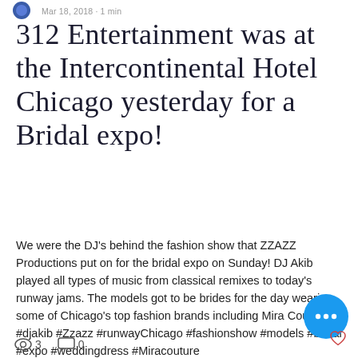Mar 18, 2018 · 1 min
312 Entertainment was at the Intercontinental Hotel Chicago yesterday for a Bridal expo!
We were the DJ's behind the fashion show that ZZAZZ Productions put on for the bridal expo on Sunday! DJ Akib played all types of music from classical remixes to today's runway jams. The models got to be brides for the day wearing some of Chicago's top fashion brands including Mira Couture #djakib #Zzazz #runwayChicago #fashionshow #models #bridal #expo #weddingdress #Miracouture